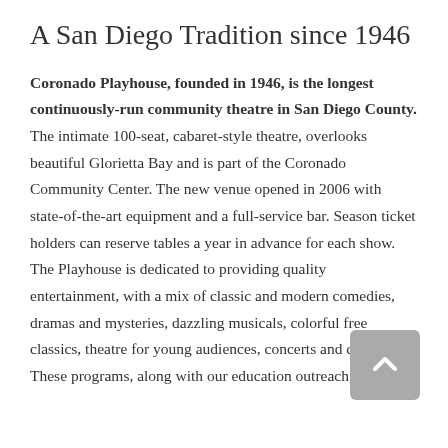A San Diego Tradition since 1946
Coronado Playhouse, founded in 1946, is the longest continuously-run community theatre in San Diego County. The intimate 100-seat, cabaret-style theatre, overlooks beautiful Glorietta Bay and is part of the Coronado Community Center. The new venue opened in 2006 with state-of-the-art equipment and a full-service bar. Season ticket holders can reserve tables a year in advance for each show. The Playhouse is dedicated to providing quality entertainment, with a mix of classic and modern comedies, dramas and mysteries, dazzling musicals, colorful free classics, theatre for young audiences, concerts and cabarets. These programs, along with our education outreach, theatre